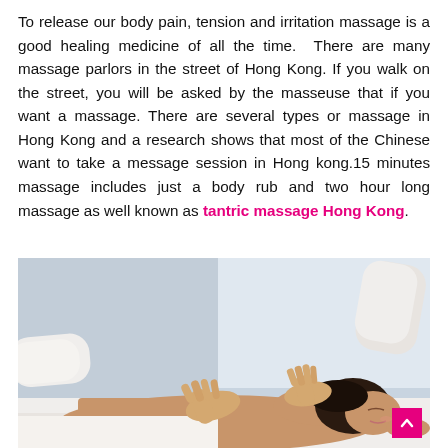To release our body pain, tension and irritation massage is a good healing medicine of all the time.  There are many massage parlors in the street of Hong Kong. If you walk on the street, you will be asked by the masseuse that if you want a massage. There are several types or massage in Hong Kong and a research shows that most of the Chinese want to take a message session in Hong kong.15 minutes massage includes just a body rub and two hour long massage as well known as tantric massage Hong Kong.
[Figure (photo): A woman lying face down receiving a back massage from a masseuse. The woman has dark hair pulled back and is lying on a white surface. The masseuse's hands are visible applying pressure to the woman's upper back and shoulders. Soft, light background.]